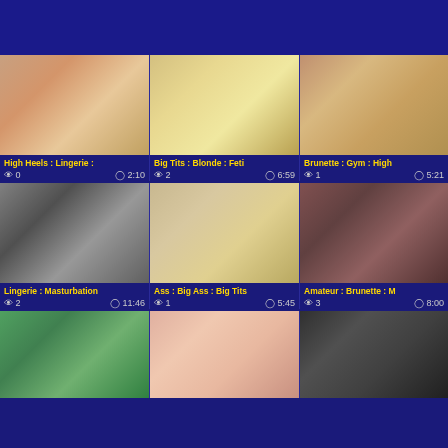[Figure (screenshot): Video thumbnail grid page with dark blue background showing adult video thumbnails with tags and metadata]
High Heels : Lingerie :
views: 0, duration: 2:10
Big Tits : Blonde : Feti
views: 2, duration: 6:59
Brunette : Gym : High
views: 1, duration: 5:21
Lingerie : Masturbation
views: 2, duration: 11:46
Ass : Big Ass : Big Tits
views: 1, duration: 5:45
Amateur : Brunette : M
views: 3, duration: 8:00